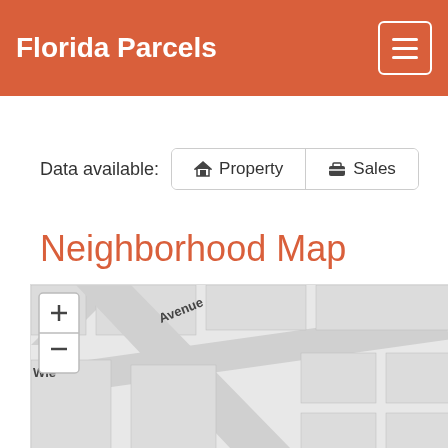Florida Parcels
Data available:  Property  Sales
Neighborhood Map
[Figure (map): Street map showing neighborhood with Concordia Boulevard and partial street name with 'Wie' visible and 'Avenue' label. Map includes zoom +/- controls in top-left corner. Street grid with light gray blocks and darker gray road lines.]